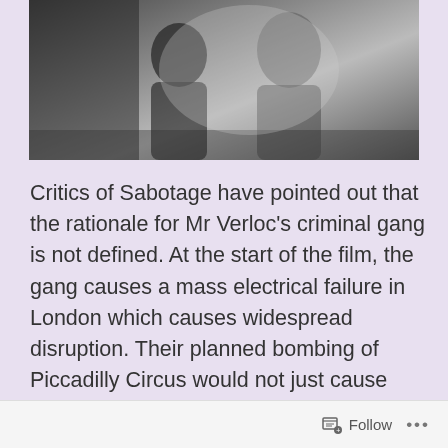[Figure (photo): Black and white photograph showing two or more people, partially cropped at top of page]
Critics of Sabotage have pointed out that the rationale for Mr Verloc's criminal gang is not defined. At the start of the film, the gang causes a mass electrical failure in London which causes widespread disruption. Their planned bombing of Piccadilly Circus would not just cause great material damage and loss of life – Piccadilly Circus was the symbolic centre of London, England, and the British Empire. When its underground station was completed in 1928, it was hailed as a feat of engineering. London Underground even produced
Follow ...